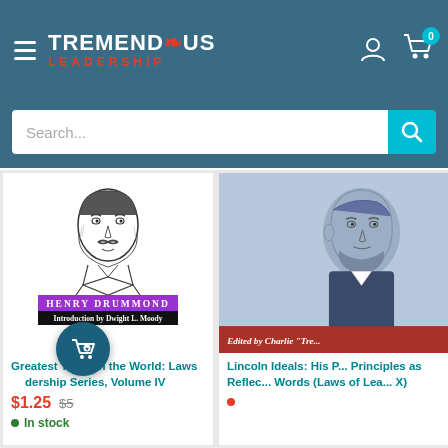[Figure (screenshot): Tremendous Leadership website header with logo, hamburger menu, user icon, and cart icon showing 0 items]
[Figure (screenshot): Search bar with placeholder text 'Search...' and teal search button]
[Figure (illustration): Book cover: Henry Drummond portrait illustration with 'HENRY DRUMMOND' in purple and 'Introduction by Dwight L. Moody' on black band]
Greatest Thing in the World: Laws of Leadership Series, Volume IV
$1.25  $5
In stock
[Figure (illustration): Book cover showing Abraham Lincoln illustration on blue-gray background with red band: 'Edited by Charlie "Tre...']
Lincoln Ideals: His P... Principles as Reflec... Words (Laws of Lea... X)